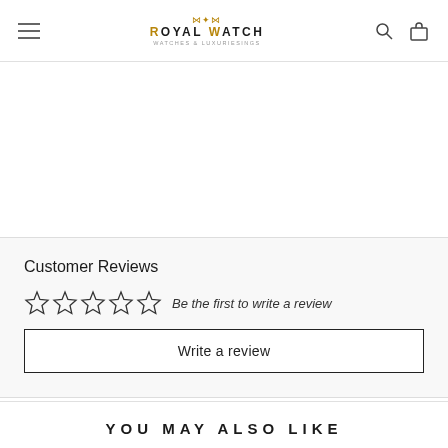ROYAL WATCH — Watches & Luxuriesings
Customer Reviews
☆☆☆☆☆  Be the first to write a review
Write a review
YOU MAY ALSO LIKE